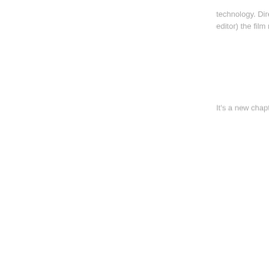technology. Directe editor) the film repl
It's a new chapter